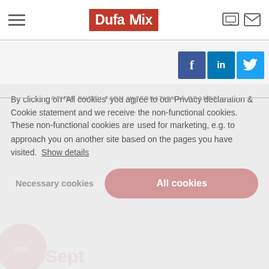DufaMix
[Figure (logo): DufaMix logo - red square with white text 'Dufa' and dark text 'Mix']
[Figure (infographic): Social media icons: Facebook (f), LinkedIn (in), Twitter bird]
OTHER DUTCH FARM INTERNATIONAL BRANDS
By clicking on 'All cookies' you agree to our Privacy declaration & Cookie statement and we receive the non-functional cookies. These non-functional cookies are used for marketing, e.g. to approach you on another site based on the pages you have visited. Show details
Necessary cookies
All cookies
[Figure (logo): DufaSept logo - red circle with white text and DufaSept brand name in red and grey]